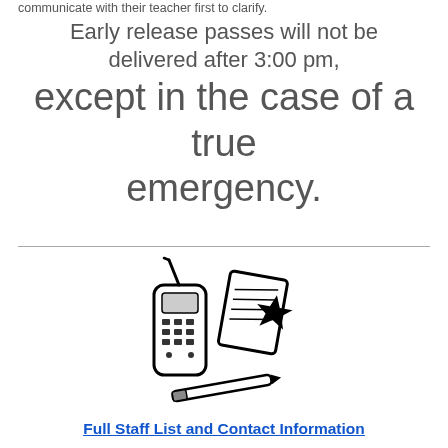communicate with their teacher first to clarify.
Early release passes will not be delivered after 3:00 pm, except in the case of a true emergency.
[Figure (illustration): Clip art illustration of a cordless telephone and a notepad with a pen/pencil]
Full Staff List and Contact Information